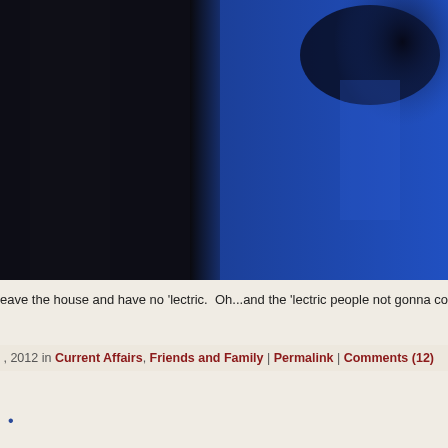[Figure (photo): Close-up photo showing dark black fabric or surface on the left half and bright royal blue fabric or surface on the right half, with a dark smudge or shadow visible in the upper right area.]
eave the house and have no 'lectric.  Oh...and the 'lectric people not gonna come out until the
, 2012 in Current Affairs, Friends and Family | Permalink | Comments (12)
.